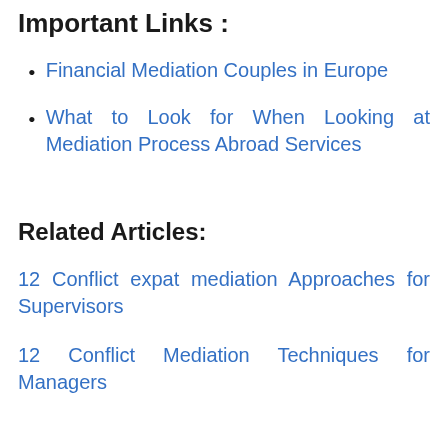Important Links :
Financial Mediation Couples in Europe
What to Look for When Looking at Mediation Process Abroad Services
Related Articles:
12 Conflict expat mediation Approaches for Supervisors
12 Conflict Mediation Techniques for Managers